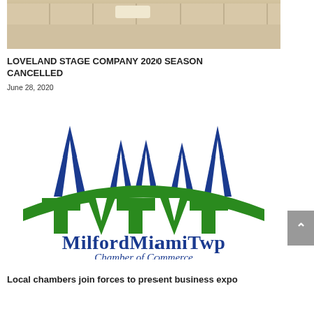[Figure (photo): Interior ceiling/room photo showing ceiling tiles and wall]
LOVELAND STAGE COMPANY 2020 SEASON CANCELLED
June 28, 2020
[Figure (logo): Milford Miami Twp Chamber of Commerce logo with blue triangle peaks and green bridge arch design]
Local chambers join forces to present business expo